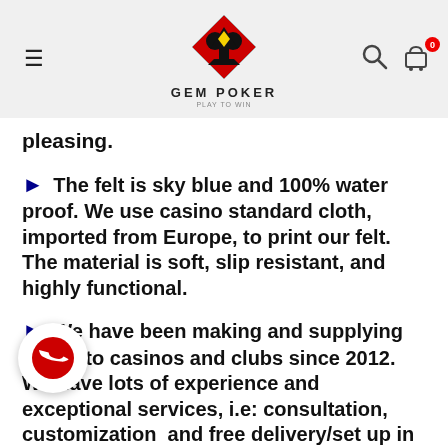GEM POKER
pleasing.
► The felt is sky blue and 100% water proof. We use casino standard cloth, imported from Europe, to print our felt. The material is soft, slip resistant, and highly functional.
► We have been making and supplying tables to casinos and clubs since 2012.  We have lots of experience and  exceptional services, i.e: consultation, customization  and free delivery/set up in Hochiminh city.
► We treat our customers with the utmost respect and process their